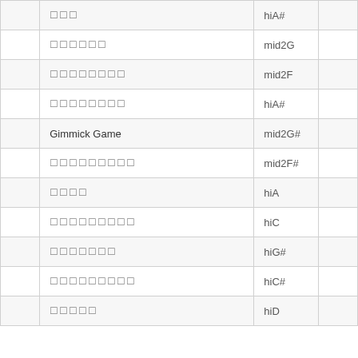|  |  |  |  |
| --- | --- | --- | --- |
|  | 엔핑 | hiA# |  |
|  | 라이트닝 | mid2G |  |
|  | 미스터리걸 | mid2F |  |
|  | 러브스케치 | hiA# |  |
|  | Gimmick Game | mid2G# |  |
|  | 미스터리게임 | mid2F# |  |
|  | 갈게요 | hiA |  |
|  | 러브스케치10 | hiC |  |
|  | 라이트닝7 | hiG# |  |
|  | 러브스케치10 | hiC# |  |
|  | 갈게요5 | hiD |  |